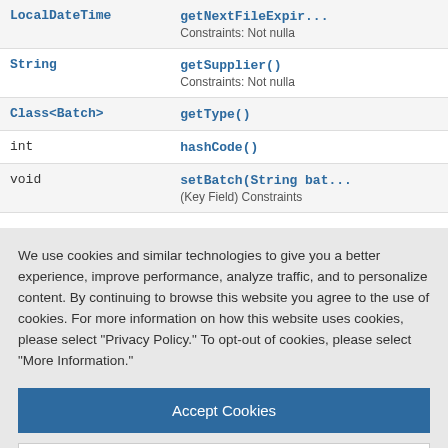| Type | Method |
| --- | --- |
| LocalDateTime | getNextFileExpir...
Constraints: Not nulla |
| String | getSupplier()
Constraints: Not nulla |
| Class<Batch> | getType() |
| int | hashCode() |
| void | setBatch(String bat...
(Key Field) Constraints |
We use cookies and similar technologies to give you a better experience, improve performance, analyze traffic, and to personalize content. By continuing to browse this website you agree to the use of cookies. For more information on how this website uses cookies, please select "Privacy Policy." To opt-out of cookies, please select "More Information."
Accept Cookies
More Information
Privacy Policy | Powered by: TrustArc